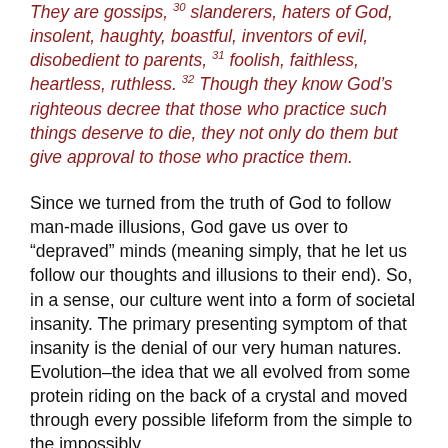They are full of envy, murder, strife, deceit, maliciousness. They are gossips, 30 slanderers, haters of God, insolent, haughty, boastful, inventors of evil, disobedient to parents, 31 foolish, faithless, heartless, ruthless. 32 Though they know God’s righteous decree that those who practice such things deserve to die, they not only do them but give approval to those who practice them.
Since we turned from the truth of God to follow man-made illusions, God gave us over to “depraved” minds (meaning simply, that he let us follow our thoughts and illusions to their end). So, in a sense, our culture went into a form of societal insanity. The primary presenting symptom of that insanity is the denial of our very human natures. Evolution–the idea that we all evolved from some protein riding on the back of a crystal and moved through every possible lifeform from the simple to the impossibly